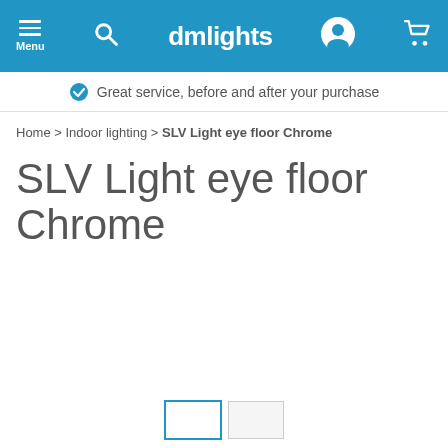dmlights — Menu, Search, User, Cart navigation bar
✔ Great service, before and after your purchase
Home > Indoor lighting > SLV Light eye floor Chrome
SLV Light eye floor Chrome
[Figure (other): Product image area (empty/white) with a right-arrow navigation button on the right side]
Thumbnail navigation at bottom with two boxes, first selected (blue border)